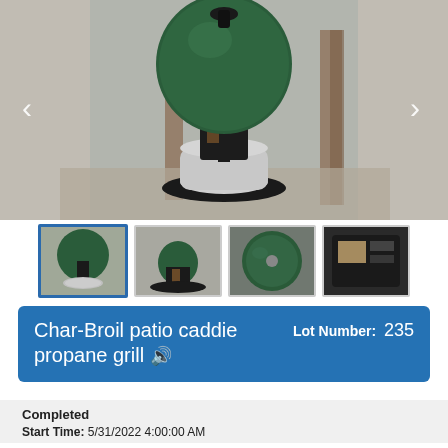[Figure (photo): Main photo of a Char-Broil patio caddie propane grill, dark green/teal dome shape, standing on a round base with a propane tank visible underneath, displayed in an indoor/garage setting. Navigation arrows (< >) on left and right.]
[Figure (photo): Row of four thumbnail images of the same Char-Broil propane grill from various angles. First thumbnail is highlighted with a blue border (active).]
Char-Broil patio caddie propane grill 🔊
Lot Number:  235
Completed
Start Time: 5/31/2022 4:00:00 AM